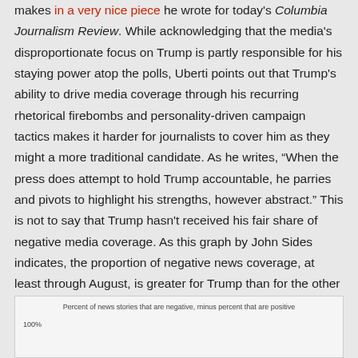makes in a very nice piece he wrote for today's Columbia Journalism Review. While acknowledging that the media's disproportionate focus on Trump is partly responsible for his staying power atop the polls, Uberti points out that Trump's ability to drive media coverage through his recurring rhetorical firebombs and personality-driven campaign tactics makes it harder for journalists to cover him as they might a more traditional candidate. As he writes, “When the press does attempt to hold Trump accountable, he parries and pivots to highlight his strengths, however abstract.” This is not to say that Trump hasn't received his fair share of negative media coverage. As this graph by John Sides indicates, the proportion of negative news coverage, at least through August, is greater for Trump than for the other Republican candidates.
[Figure (continuous-plot): Bar chart showing percent of news stories that are negative minus percent that are positive. Y-axis labeled 100%.]